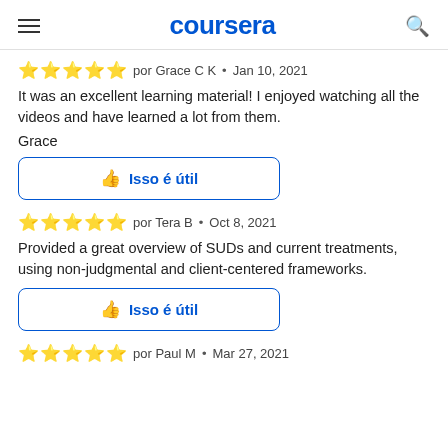coursera
⭐⭐⭐⭐⭐ por Grace C K • Jan 10, 2021
It was an excellent learning material! I enjoyed watching all the videos and have learned a lot from them.
Grace
Isso é útil
⭐⭐⭐⭐⭐ por Tera B • Oct 8, 2021
Provided a great overview of SUDs and current treatments, using non-judgmental and client-centered frameworks.
Isso é útil
⭐⭐⭐⭐⭐ por Paul M • Mar 27, 2021